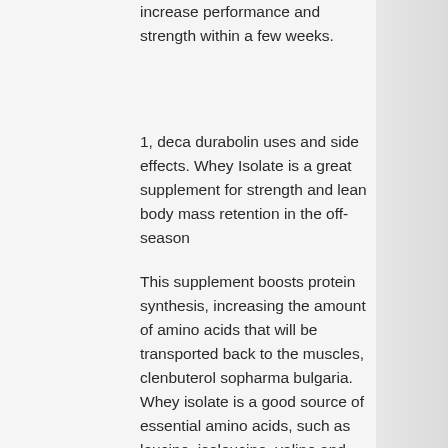increase performance and strength within a few weeks.
1, deca durabolin uses and side effects. Whey Isolate is a great supplement for strength and lean body mass retention in the off-season
This supplement boosts protein synthesis, increasing the amount of amino acids that will be transported back to the muscles, clenbuterol sopharma bulgaria. Whey isolate is a good source of essential amino acids, such as leucine, isoleucine, valine and isoleucine. It also contains glutamine, as well as L-glutamine and a good amount of phenylalanine and glutamine. This supplement also helps you build muscle mass which in turn will increase the strength-per-kilogram of bodyweight, crazy bulk x2. Since you are not gaining muscle mass